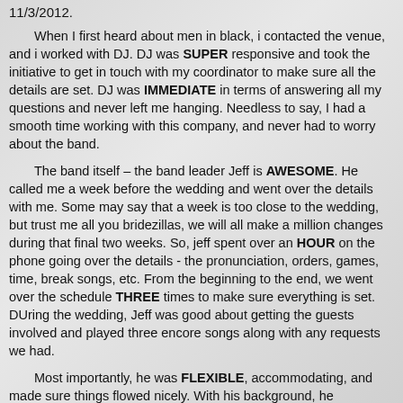11/3/2012.
When I first heard about men in black, i contacted the venue, and i worked with DJ. DJ was SUPER responsive and took the initiative to get in touch with my coordinator to make sure all the details are set. DJ was IMMEDIATE in terms of answering all my questions and never left me hanging. Needless to say, I had a smooth time working with this company, and never had to worry about the band.
The band itself – the band leader Jeff is AWESOME. He called me a week before the wedding and went over the details with me. Some may say that a week is too close to the wedding, but trust me all you bridezillas, we will all make a million changes during that final two weeks. So, jeff spent over an HOUR on the phone going over the details - the pronunciation, orders, games, time, break songs, etc. From the beginning to the end, we went over the schedule THREE times to make sure everything is set.
DUring the wedding, Jeff was good about getting the guests involved and played three encore songs along with any requests we had.
Most importantly, he was FLEXIBLE, accommodating, and made sure things flowed nicely. With his background, he